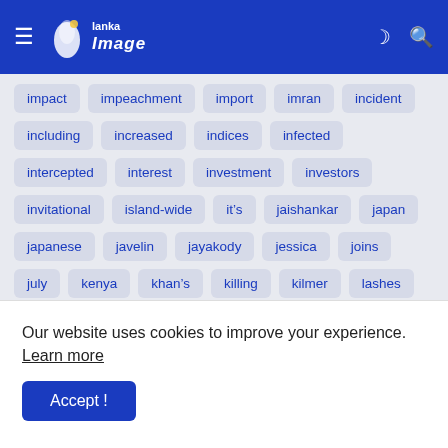Lanka Image — navigation bar with hamburger menu, moon icon, search icon
impact
impeachment
import
imran
incident
including
increased
indices
infected
intercepted
interest
investment
investors
invitational
island-wide
it&#8217;s
jaishankar
japan
japanese
javelin
jayakody
jessica
joins
july
kenya
khan&#8217;s
killing
kilmer
lashes
last
leakes
leave
legend
lekhara
life's
lightning
lisa
lmd's
lockdowns
lolc
long
lose
Our website uses cookies to improve your experience. Learn more
Accept !